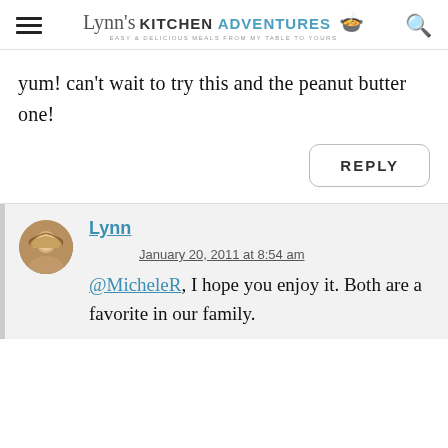Lynn's Kitchen Adventures — Easy & Delicious Meals From My Table To Yours
yum! can't wait to try this and the peanut butter one!
REPLY
Lynn
January 20, 2011 at 8:54 am
@MicheleR, I hope you enjoy it. Both are a favorite in our family.